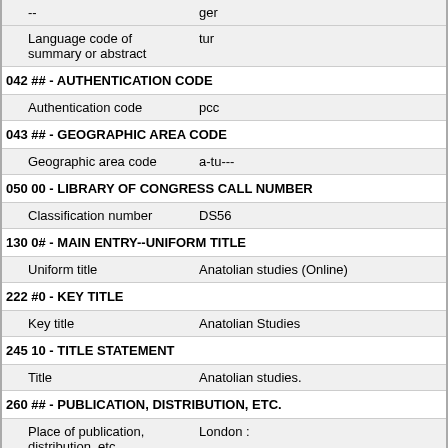| -- | ger |
| Language code of summary or abstract | tur |
| 042 ## - AUTHENTICATION CODE |  |
| Authentication code | pcc |
| 043 ## - GEOGRAPHIC AREA CODE |  |
| Geographic area code | a-tu--- |
| 050 00 - LIBRARY OF CONGRESS CALL NUMBER |  |
| Classification number | DS56 |
| 130 0# - MAIN ENTRY--UNIFORM TITLE |  |
| Uniform title | Anatolian studies (Online) |
| 222 #0 - KEY TITLE |  |
| Key title | Anatolian Studies |
| 245 10 - TITLE STATEMENT |  |
| Title | Anatolian studies. |
| 260 ## - PUBLICATION, DISTRIBUTION, ETC. |  |
| Place of publication, distribution, etc. | London : |
| Name of publisher, | British Institute of Archaeology at |